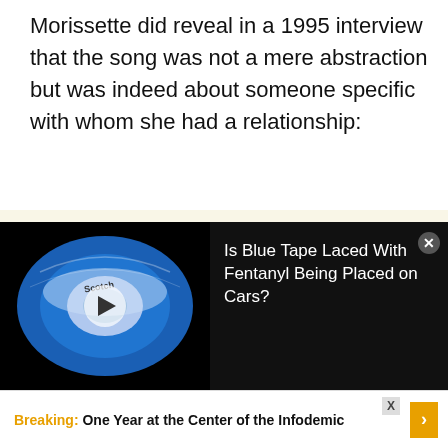Morissette did reveal in a 1995 interview that the song was not a mere abstraction but was indeed about someone specific with whom she had a relationship:
I haven't heard from him, and I don't think he knows. Which sort of says a lot about him. The ironic thing is, if anybody questions whether it's them I'm writing about, that means something in
[Figure (screenshot): Ad overlay showing a roll of blue Scotch tape on a black background with a play button, and text 'Is Blue Tape Laced With Fentanyl Being Placed on Cars?' with a close button.]
Breaking: One Year at the Center of the Infodemic